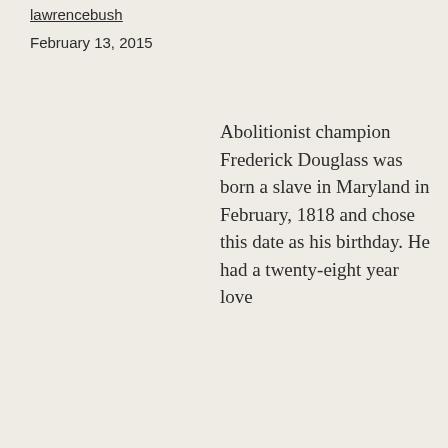lawrencebush
February 13, 2015
Abolitionist champion Frederick Douglass was born a slave in Maryland in February, 1818 and chose this date as his birthday. He had a twenty-eight year love